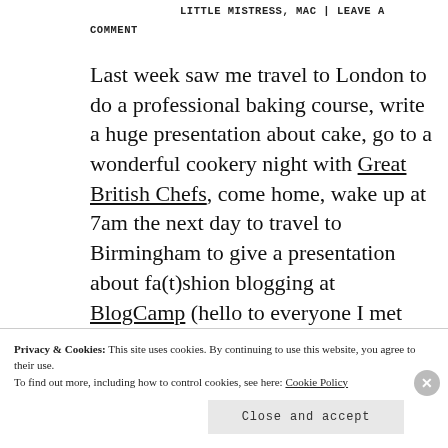LITTLE MISTRESS, MAC | LEAVE A COMMENT
Last week saw me travel to London to do a professional baking course, write a huge presentation about cake, go to a wonderful cookery night with Great British Chefs, come home, wake up at 7am the next day to travel to Birmingham to give a presentation about fa(t)shion blogging at BlogCamp (hello to everyone I met there! Thanks for li...
Privacy & Cookies: This site uses cookies. By continuing to use this website, you agree to their use. To find out more, including how to control cookies, see here: Cookie Policy
Close and accept